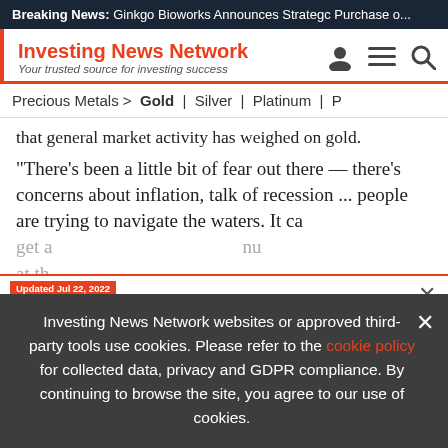Breaking News: Ginkgo Bioworks Announces Strategc Purchase o...
Investing News Network
Your trusted source for investing success
Precious Metals > Gold | Silver | Platinum | P
that general market activity has weighed on gold.
"There's been a little bit of fear out there — there's concerns about inflation, talk of recession ... people are trying to navigate the waters. It ca
get a ... nu
at th
Updated Jul 22, 2022
TOP SILVER Stocks, Trends, Forecasts
2022 Silver Outlook Report
INN
Investing News Network websites or approved third-party tools use cookies. Please refer to the cookie policy for collected data, privacy and GDPR compliance. By continuing to browse the site, you agree to our use of cookies.